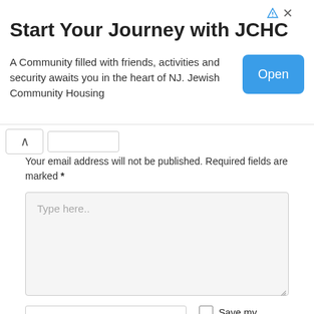[Figure (screenshot): Advertisement banner for JCHC (Jewish Community Housing) with title 'Start Your Journey with JCHC', body text 'A Community filled with friends, activities and security awaits you in the heart of NJ. Jewish Community Housing', and a blue 'Open' button. Has AdChoices icon and close button at top right.]
Your email address will not be published. Required fields are marked *
Type here..
Save my